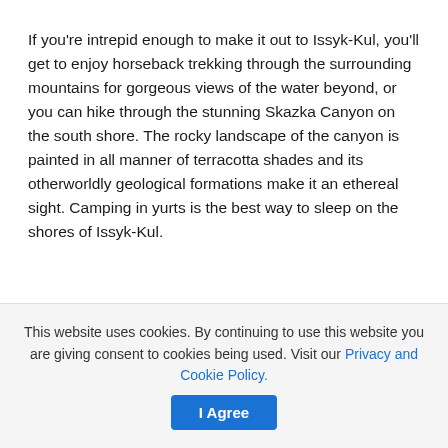If you're intrepid enough to make it out to Issyk-Kul, you'll get to enjoy horseback trekking through the surrounding mountains for gorgeous views of the water beyond, or you can hike through the stunning Skazka Canyon on the south shore. The rocky landscape of the canyon is painted in all manner of terracotta shades and its otherworldly geological formations make it an ethereal sight. Camping in yurts is the best way to sleep on the shores of Issyk-Kul.
This website uses cookies. By continuing to use this website you are giving consent to cookies being used. Visit our Privacy and Cookie Policy.